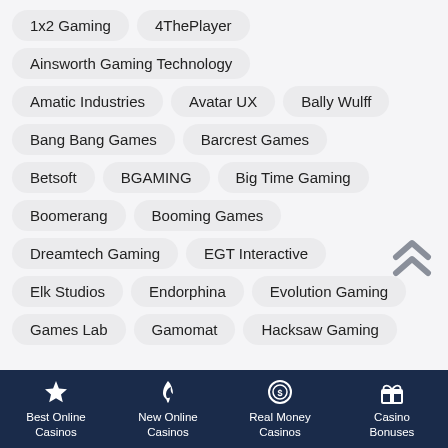1x2 Gaming
4ThePlayer
Ainsworth Gaming Technology
Amatic Industries
Avatar UX
Bally Wulff
Bang Bang Games
Barcrest Games
Betsoft
BGAMING
Big Time Gaming
Boomerang
Booming Games
Dreamtech Gaming
EGT Interactive
Elk Studios
Endorphina
Evolution Gaming
Games Lab
Gamomat
Hacksaw Gaming
Best Online Casinos | New Online Casinos | Real Money Casinos | Casino Bonuses